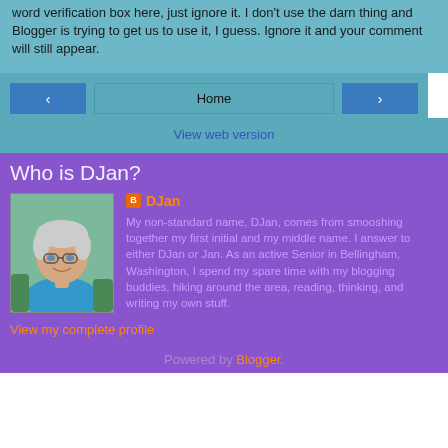word verification box here, just ignore it. I don't use the darn thing and Blogger is trying to get us to use it, I guess. Ignore it and your comment will still appear.
◀  Home  ▶
View web version
Who is DJan?
[Figure (photo): Profile photo of DJan, an older woman with short grey hair and glasses, smiling, wearing a blue top]
DJan
My non-standard name, DJan, comes from smooshing together my first initial and my middle name. I answer to either DJan or Jan. As an active Senior in Bellingham, Washington, I spend my spare time with my blogging buddies, hiking around the area, reading, thinking, and writing my own stuff.
View my complete profile
Powered by Blogger.